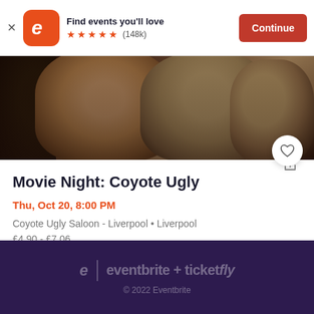[Figure (screenshot): Eventbrite app advertisement banner with orange logo, 5 stars rating, (148k) reviews, and orange Continue button]
[Figure (photo): Photo of women (movie still from Coyote Ugly) with dark background]
Movie Night: Coyote Ugly
Thu, Oct 20, 8:00 PM
Coyote Ugly Saloon - Liverpool • Liverpool
£4.90 - £7.06
eventbrite + ticketfly
© 2022 Eventbrite